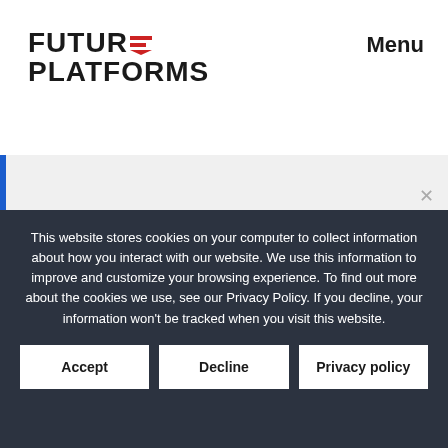[Figure (logo): Future Platforms logo with red equals/arrow icon, bold black text on white background]
Menu
[Figure (other): Gray content area with blue left border accent]
This website stores cookies on your computer to collect information about how you interact with our website. We use this information to improve and customize your browsing experience. To find out more about the cookies we use, see our Privacy Policy. If you decline, your information won't be tracked when you visit this website.
Accept
Decline
Privacy policy